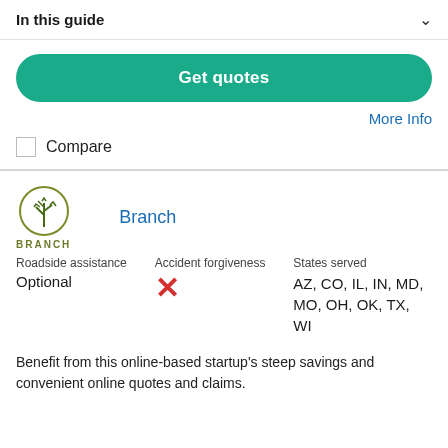In this guide
[Figure (other): Green rounded button labeled 'Get quotes']
More Info
Compare
[Figure (logo): Branch insurance logo: circle with plant/leaf icon and 'BRANCH' text below in olive green]
Branch
Roadside assistance
Optional
Accident forgiveness
✗
States served
AZ, CO, IL, IN, MD, MO, OH, OK, TX, WI
Benefit from this online-based startup's steep savings and convenient online quotes and claims.